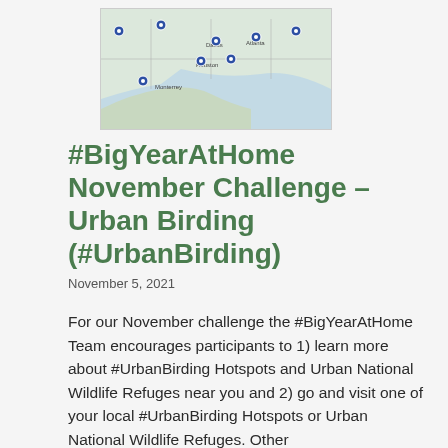[Figure (map): A map showing locations in the southern United States including cities like Dallas, Houston, and Monterrey (Mexico), with blue pin markers indicating birding hotspots or wildlife refuges.]
#BigYearAtHome November Challenge – Urban Birding (#UrbanBirding)
November 5, 2021
For our November challenge the #BigYearAtHome Team encourages participants to 1) learn more about #UrbanBirding Hotspots and Urban National Wildlife Refuges near you and 2) go and visit one of your local #UrbanBirding Hotspots or Urban National Wildlife Refuges. Other